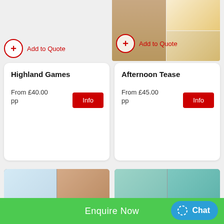[Figure (screenshot): Website product listing page showing two activity cards: Highland Games (From £40.00 pp) and Afternoon Tease (From £45.00 pp), with Add to Quote buttons, Info buttons, and spa/activity images at bottom. Green Enquire Now bar and blue Chat button at bottom.]
Add to Quote
Highland Games
From £40.00 pp
Info
Add to Quote
Afternoon Tease
From £45.00 pp
Info
Enquire Now
Chat